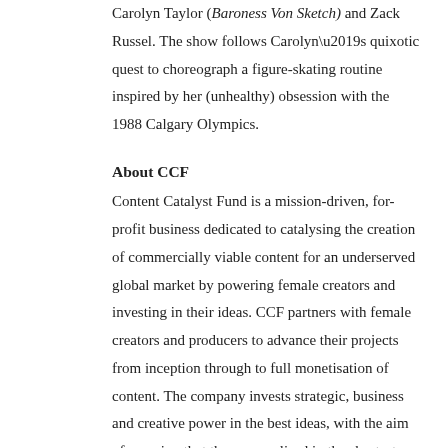Carolyn Taylor (Baroness Von Sketch) and Zack Russel. The show follows Carolyn’s quixotic quest to choreograph a figure-skating routine inspired by her (unhealthy) obsession with the 1988 Calgary Olympics.
About CCF
Content Catalyst Fund is a mission-driven, for-profit business dedicated to catalysing the creation of commercially viable content for an underserved global market by powering female creators and investing in their ideas. CCF partners with female creators and producers to advance their projects from inception through to full monetisation of content. The company invests strategic, business and creative power in the best ideas, with the aim of ensuring that they are realised in the shortest possible time frame.